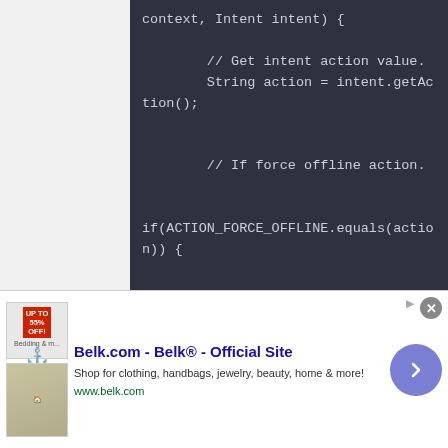[Figure (screenshot): Code editor screenshot showing Java/Android code on dark background (#2e3240). Code includes: context, Intent intent) {, // Get intent action value., String action = intent.getAction();, // If force offline action., if(ACTION_FORCE_OFFLINE.equals(action)) {, Toast.makeText(context, "This account login in another device, you need login again", Toast.LENGTH_LONG).show();, // Finish all activities., ActivityManagerUtil.finishAllActivity();, // Start the login form activity (partially visible)]
[Figure (screenshot): Advertisement banner for Belk.com - Belk Official Site. Shows 'Shop for clothing, handbags, jewelry, beauty, home & more!' with www.belk.com URL. Has close button (x), ad indicator, product thumbnail images, and purple circular arrow button.]